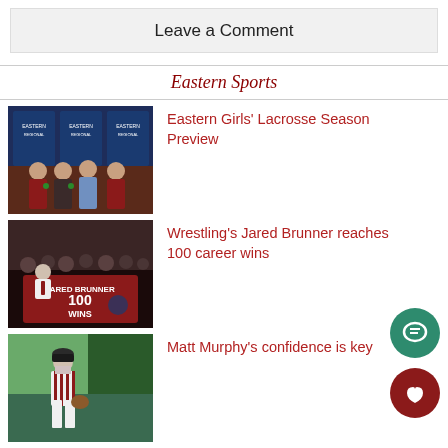Leave a Comment
Eastern Sports
[Figure (photo): Group photo of girls lacrosse players in front of Eastern Regional banners]
Eastern Girls' Lacrosse Season Preview
[Figure (photo): Wrestling team celebrating Jared Brunner's 100 wins, holding a banner reading JARED BRUNNER 100 WINS]
Wrestling's Jared Brunner reaches 100 career wins
[Figure (photo): Baseball player Matt Murphy standing on field in uniform]
Matt Murphy's confidence is key